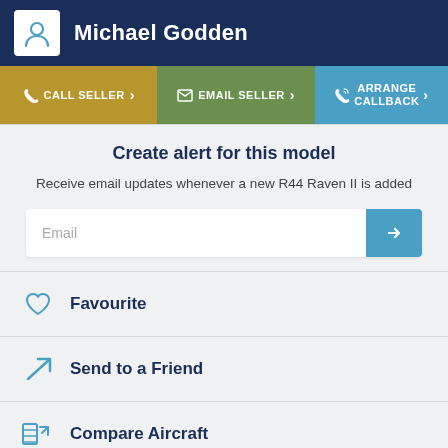Michael Godden
CALL SELLER
EMAIL SELLER
ARRANGE CALLBACK
Create alert for this model
Receive email updates whenever a new R44 Raven II is added
Email
Favourite
Send to a Friend
Compare Aircraft